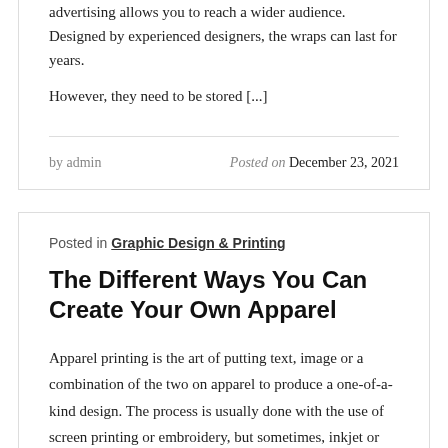advertising allows you to reach a wider audience. Designed by experienced designers, the wraps can last for years. However, they need to be stored [...]
by admin   Posted on December 23, 2021
Posted in Graphic Design & Printing
The Different Ways You Can Create Your Own Apparel
Apparel printing is the art of putting text, image or a combination of the two on apparel to produce a one-of-a-kind design. The process is usually done with the use of screen printing or embroidery, but sometimes, inkjet or digital printing are also used. Most commonly, apparel printing is done for sports teams, race cars, [...]